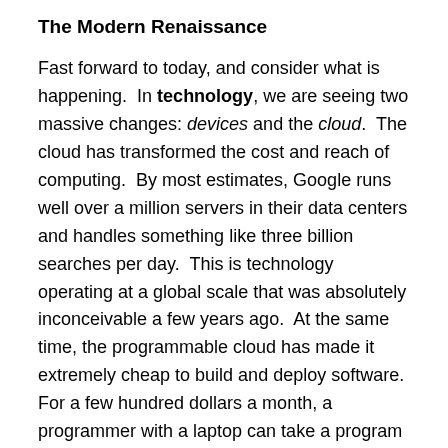The Modern Renaissance
Fast forward to today, and consider what is happening.  In technology, we are seeing two massive changes: devices and the cloud.  The cloud has transformed the cost and reach of computing.  By most estimates, Google runs well over a million servers in their data centers and handles something like three billion searches per day.  This is technology operating at a global scale that was absolutely inconceivable a few years ago.  At the same time, the programmable cloud has made it extremely cheap to build and deploy software.  For a few hundred dollars a month, a programmer with a laptop can take a program they have written and within minutes make it available to more than two billion people.
Smartphones and similar devices are also astonishing in